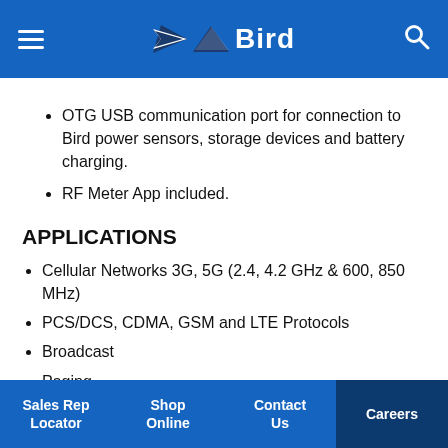Bird
OTG USB communication port for connection to Bird power sensors, storage devices and battery charging.
RF Meter App included.
APPLICATIONS
Cellular Networks 3G, 5G (2.4, 4.2 GHz & 600, 850 MHz)
PCS/DCS, CDMA, GSM and LTE Protocols
Broadcast
Paging
Government
Tactical Military
Microwave
Public Safety
Sales Rep Locator | Shop Online | Contact Us | Careers